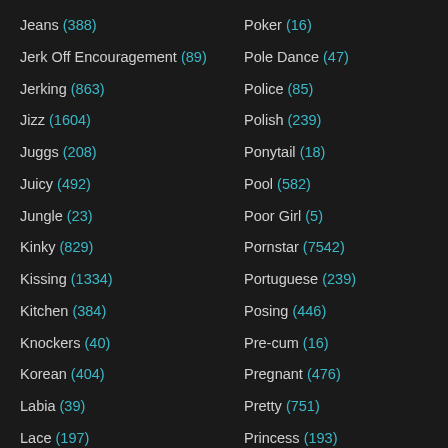Jeans (388)
Jerk Off Encouragement (89)
Jerking (863)
Jizz (1604)
Juggs (208)
Juicy (492)
Jungle (23)
Kinky (829)
Kissing (1334)
Kitchen (384)
Knockers (40)
Korean (404)
Labia (39)
Lace (197)
Lactating (108)
Poker (16)
Pole Dance (47)
Police (85)
Polish (239)
Ponytail (18)
Pool (582)
Poor Girl (5)
Pornstar (7542)
Portuguese (239)
Posing (446)
Pre-cum (16)
Pregnant (476)
Pretty (751)
Princess (193)
Prison (65)